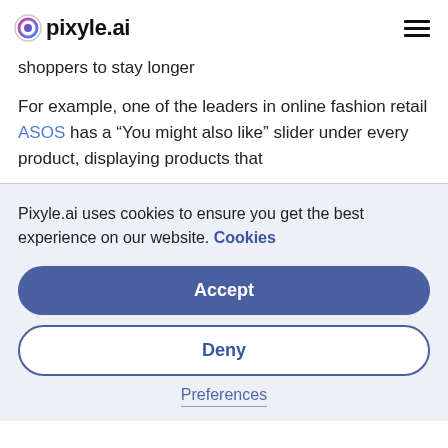pixyle.ai
shoppers to stay longer
For example, one of the leaders in online fashion retail ASOS has a “You might also like” slider under every product, displaying products that
Pixyle.ai uses cookies to ensure you get the best experience on our website. Cookies
Accept
Deny
Preferences